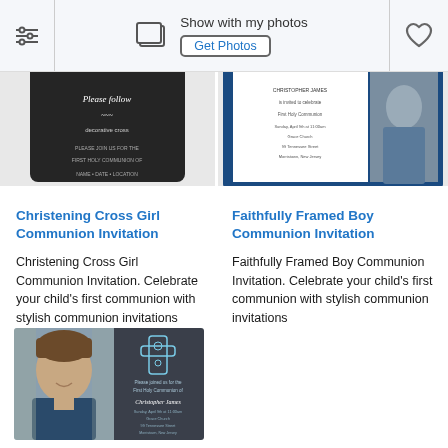[Figure (screenshot): Top toolbar with filter icon, photo preview icon, 'Show with my photos' label, 'Get Photos' button, and heart/favorite icon]
[Figure (photo): Partial view of dark Christening Cross Girl Communion Invitation card (top portion cropped)]
[Figure (photo): Partial view of Faithfully Framed Boy Communion Invitation with blue border and photo (top portion cropped)]
Christening Cross Girl Communion Invitation
Christening Cross Girl Communion Invitation. Celebrate your child’s first communion with stylish communion invitations
Faithfully Framed Boy Communion Invitation
Faithfully Framed Boy Communion Invitation. Celebrate your child’s first communion with stylish communion invitations
[Figure (photo): Third communion invitation showing a boy's photo on the left half and a dark grey invitation with decorative cross and text on the right half]